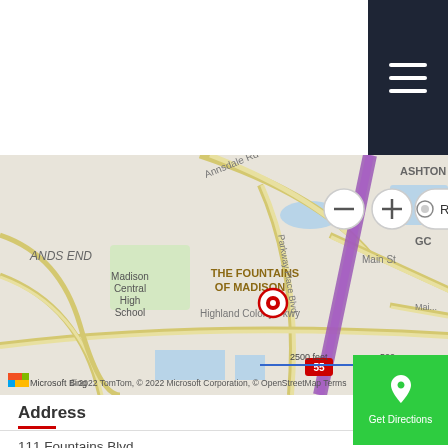[Figure (map): Bing Maps showing The Fountains of Madison location at 111 Fountains Blvd, Madison, MS. Shows Madison Central High School, Highland Colony Pkwy, Main St, Annsdale Rd. Red pin marker at location. Scale bar showing 2500 feet / 500m. Copyright 2022 TomTom, Microsoft Corporation, OpenStreetMap.]
Address
111 Fountains Blvd
Madison, MS 39110
(769) 241-3447
www.ih.life
Get Directions
Hours
Mon: 8:00 am - 5:00 pm